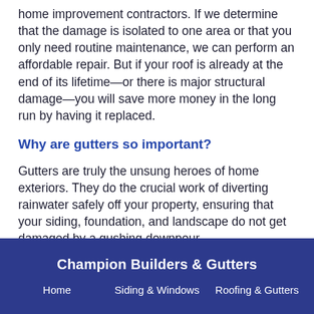home improvement contractors. If we determine that the damage is isolated to one area or that you only need routine maintenance, we can perform an affordable repair. But if your roof is already at the end of its lifetime—or there is major structural damage—you will save more money in the long run by having it replaced.
Why are gutters so important?
Gutters are truly the unsung heroes of home exteriors. They do the crucial work of diverting rainwater safely off your property, ensuring that your siding, foundation, and landscape do not get damaged by a gushing downpour.
Champion Builders & Gutters | Home | Siding & Windows | Roofing & Gutters